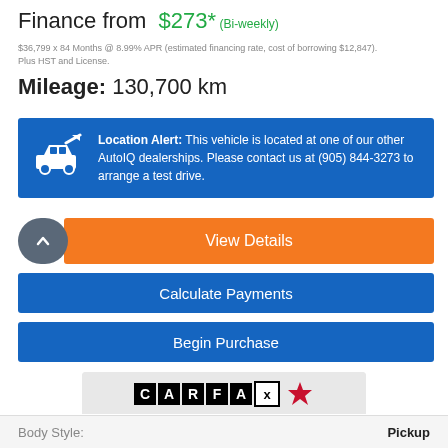Finance from $273* (Bi-weekly)
$36,799 x 84 Months @ 8.99% APR (estimated financing rate, cost of borrowing $12,847). Plus HST and License.
Mileage: 130,700 km
Location Alert: This vehicle is located at one of our other AutoIQ dealerships. Please contact us at (905) 844-3273 to arrange a test drive.
View Details
Calculate Payments
Begin Purchase
[Figure (logo): CARFAX Canada logo with maple leaf]
VIEW REPORT
Body Style: Pickup